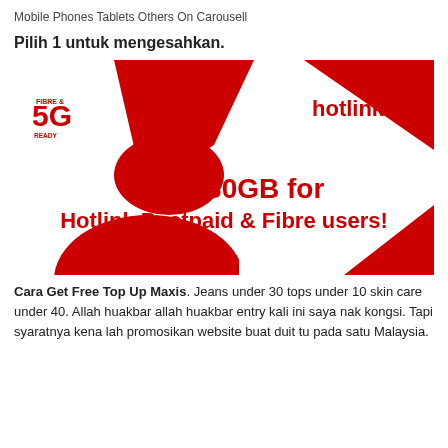Mobile Phones Tablets Others On Carousell
Pilih 1 untuk mengesahkan.
[Figure (illustration): Hotlink promotional banner with red geometric shapes (triangles and arcs), FIBRE & 5G badge on left, hotlink logo on right, bold red text reading FREE 30GB for Hotlink Postpaid & Fibre users!]
Cara Get Free Top Up Maxis. Jeans under 30 tops under 10 skin care under 40. Allah huakbar allah huakbar entry kali ini saya nak kongsi. Tapi syaratnya kena lah promosikan website buat duit tu pada satu Malaysia.